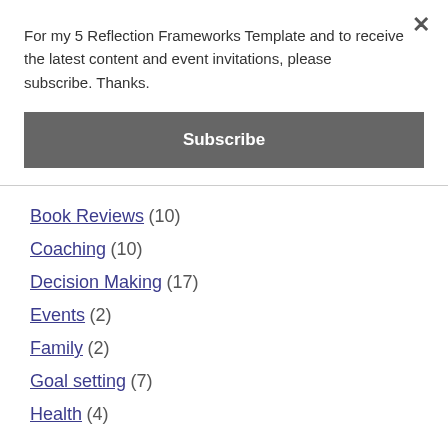For my 5 Reflection Frameworks Template and to receive the latest content and event invitations, please subscribe. Thanks.
Subscribe
Book Reviews (10)
Coaching (10)
Decision Making (17)
Events (2)
Family (2)
Goal setting (7)
Health (4)